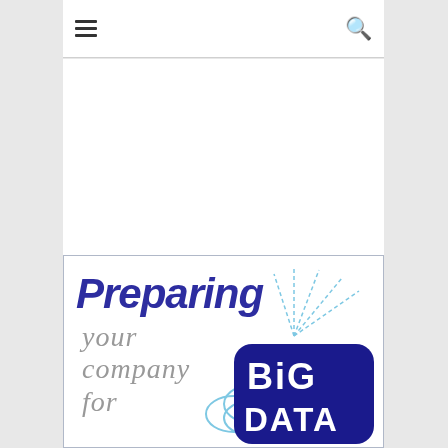☰  🔍
[Figure (illustration): Book cover illustration showing 'Preparing your company for BIG DATA' text with a stylized cloud and 'BIG DATA' logo with radiating lines in blue and grey hand-drawn style]